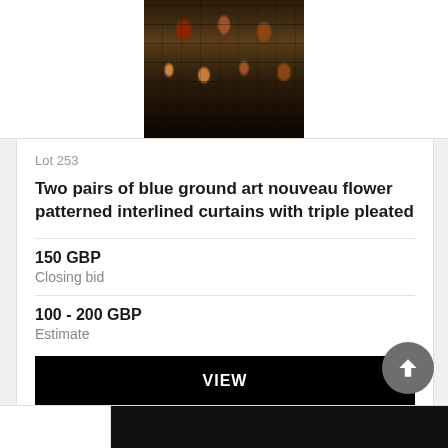[Figure (photo): Cropped photo of art nouveau flower patterned curtains with colorful floral and peacock feather motifs on a dark background]
Lot 253
Two pairs of blue ground art nouveau flower patterned interlined curtains with triple pleated
150 GBP
Closing bid
100 - 200 GBP
Estimate
VIEW
Lot closed
Lot location: OX13 6BH